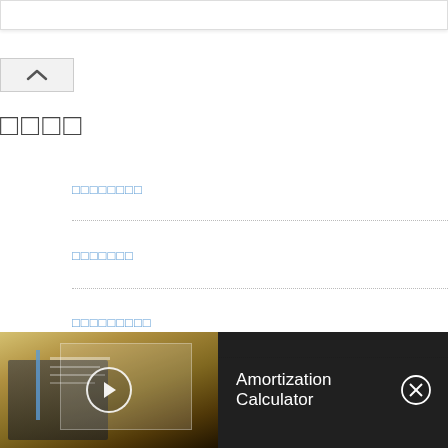[Figure (screenshot): Top white bar/input box area]
[Figure (screenshot): Collapse/up-arrow button]
□□□□
□□□□□□□□
□□□□□□□
□□□□□□□□□
□□□□□□
[Figure (screenshot): Amortization Calculator video overlay bar at bottom with thumbnail, play button, title 'Amortization Calculator' and close X button]